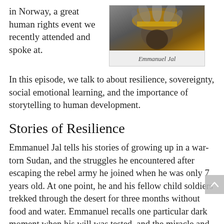in Norway, a great human rights event we recently attended and spoke at.
[Figure (photo): Photo of Emmanuel Jal wearing traditional/ornate headwear with gold decorations]
Emmanuel Jal
In this episode, we talk to about resilience, sovereignty, social emotional learning, and the importance of storytelling to human development.
Stories of Resilience
Emmanuel Jal tells his stories of growing up in a war-torn Sudan, and the struggles he encountered after escaping the rebel army he joined when he was only 7 years old. At one point, he and his fellow child soldiers trekked through the desert for three months without food and water. Emmanuel recalls one particular dark moment when his will was tested, and the miracle and salvation that followed.